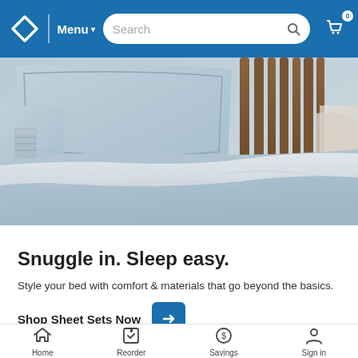Menu Search 0
[Figure (photo): Close-up photo of light blue/grey bed sheets and pillows on a bed with a wooden headboard visible in the background, and a glass on the left side]
Snuggle in. Sleep easy.
Style your bed with comfort & materials that go beyond the basics.
Shop Sheet Sets Now →
[Figure (photo): Two product thumbnail images partially visible at the bottom of the hero section]
Home  Reorder  Savings  Sign in